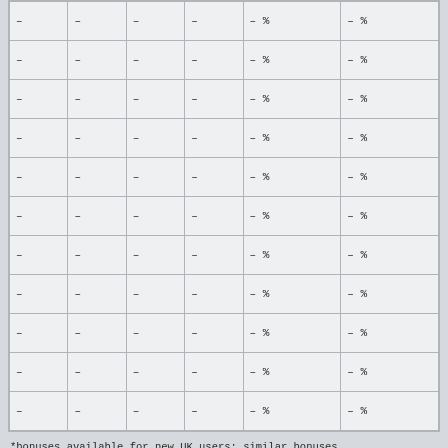| – | – | – | – | – % | – % |
| – | – | – | – | – % | – % |
| – | – | – | – | – % | – % |
| – | – | – | – | – % | – % |
| – | – | – | – | – % | – % |
| – | – | – | – | – % | – % |
| – | – | – | – | – % | – % |
| – | – | – | – | – % | – % |
| – | – | – | – | – % | – % |
| – | – | – | – | – % | – % |
| – | – | – | – | – % | – % |
*bonuses available for new UK users; similar bonuses available for users in other countries as well; T&Cs apply *data provided in the race card is for the current year; the UK rank data is calculated based on current year results – horses with no or few races may have a lower rank than their performance
After the race, you may want to check the results for Leicester horse racing, UK.
Pre-Racing Form | United Kingdom | Australia
Copyright © 2022. All Rights Reserved.